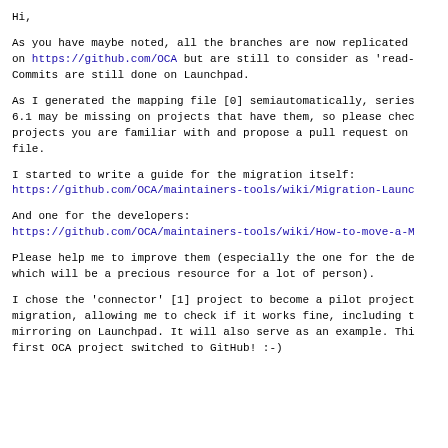Hi,
As you have maybe noted, all the branches are now replicated on https://github.com/OCA but are still to consider as 'read-Commits are still done on Launchpad.
As I generated the mapping file [0] semiautomatically, series 6.1 may be missing on projects that have them, so please chec projects you are familiar with and propose a pull request on file.
I started to write a guide for the migration itself: https://github.com/OCA/maintainers-tools/wiki/Migration-Launc
And one for the developers: https://github.com/OCA/maintainers-tools/wiki/How-to-move-a-M
Please help me to improve them (especially the one for the de which will be a precious resource for a lot of person).
I chose the 'connector' [1] project to become a pilot project migration, allowing me to check if it works fine, including t mirroring on Launchpad. It will also serve as an example. Thi first OCA project switched to GitHub! :-)